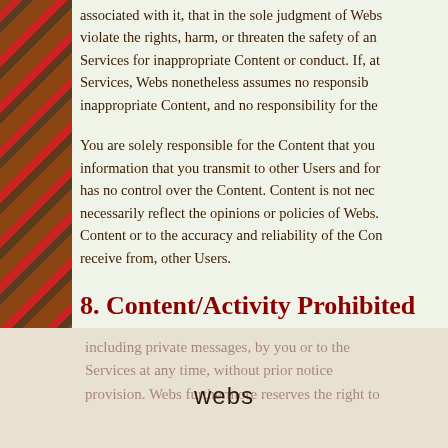associated with it, that in the sole judgment of Webs violate the rights, harm, or threaten the safety of any Services for inappropriate Content or conduct. If, at Services, Webs nonetheless assumes no responsibility inappropriate Content, and no responsibility for the
You are solely responsible for the Content that you information that you transmit to other Users and for has no control over the Content. Content is not necessarily reflect the opinions or policies of Webs. Content or to the accuracy and reliability of the Content receive from, other Users.
8. Content/Activity Prohibited
The following is a partial list of the kind of Content and use of the Services. Webs reserves the right, in its sole
including private messages, by you or to the Services at any time, without prior notice provision. Webs furthermore reserves the right to